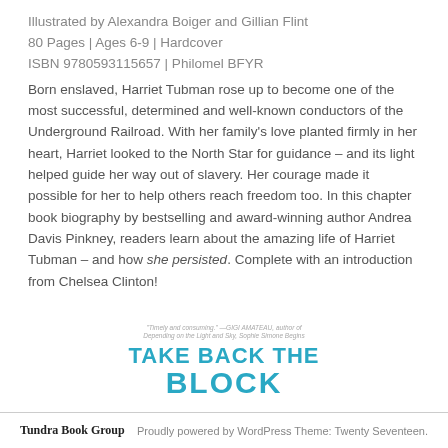Illustrated by Alexandra Boiger and Gillian Flint
80 Pages | Ages 6-9 | Hardcover
ISBN 9780593115657 | Philomel BFYR
Born enslaved, Harriet Tubman rose up to become one of the most successful, determined and well-known conductors of the Underground Railroad. With her family's love planted firmly in her heart, Harriet looked to the North Star for guidance – and its light helped guide her way out of slavery. Her courage made it possible for her to help others reach freedom too. In this chapter book biography by bestselling and award-winning author Andrea Davis Pinkney, readers learn about the amazing life of Harriet Tubman – and how she persisted. Complete with an introduction from Chelsea Clinton!
[Figure (illustration): Partial book cover for 'Take Back the Block' showing the title text in teal/cyan bold letters with a small italic quote above]
Tundra Book Group   Proudly powered by WordPress Theme: Twenty Seventeen.